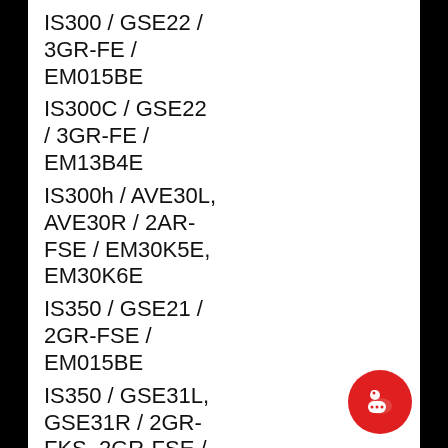IS300 / GSE22 / 3GR-FE / EM015BE
IS300C / GSE22 / 3GR-FE / EM13B4E
IS300h / AVE30L, AVE30R / 2AR-FSE / EM30K5E, EM30K6E
IS350 / GSE21 / 2GR-FSE / EM015BE
IS350 / GSE31L, GSE31R / 2GR-FKS, 2GR-FSE / EM30H5E,